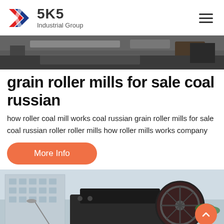SKS Industrial Group
[Figure (photo): Industrial machinery equipment photo, dark tones, conveyor or mill equipment visible]
grain roller mills for sale coal russian
how roller coal mill works coal russian grain roller mills for sale coal russian roller roller mills how roller mills works company
More Info
[Figure (photo): Large industrial jaw crusher or mill equipment in front of a multi-story building, with a large flywheel visible]